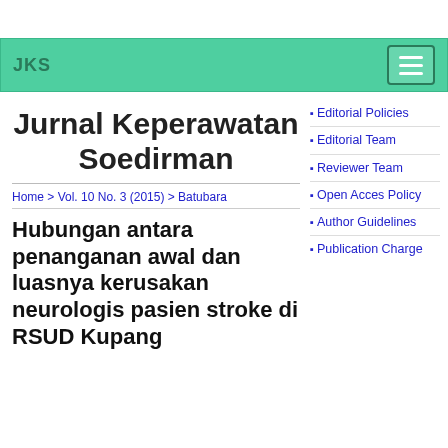JKS
Jurnal Keperawatan Soedirman
Home > Vol. 10 No. 3 (2015) > Batubara
Hubungan antara penanganan awal dan luasnya kerusakan neurologis pasien stroke di RSUD Kupang
Editorial Policies
Editorial Team
Reviewer Team
Open Acces Policy
Author Guidelines
Publication Charge